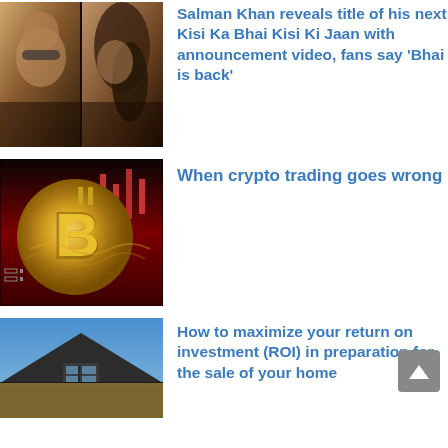[Figure (photo): Two people with dark hair, warm-toned moody lighting, film-style image for Salman Khan movie announcement]
Salman Khan reveals title of his next Kisi Ka Bhai Kisi Ki Jaan with announcement video, fans say 'Bhai is back'
[Figure (photo): Gold Bitcoin coin with distorted human face shape on dark red background with candlestick chart]
When crypto trading goes wrong
[Figure (photo): House rooftop with dormer window against blue sky, real estate image]
How to maximize your return on investment (ROI) in preparation for the sale of your home